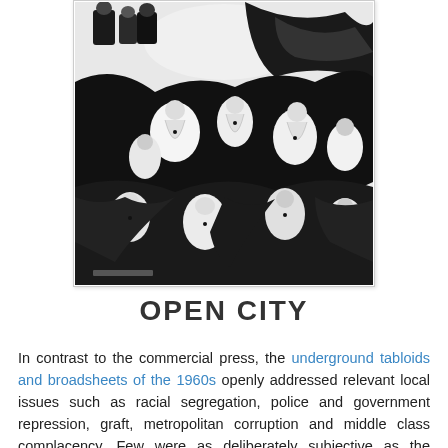[Figure (illustration): Black and white illustration showing a dense crowd of stylized human figures, mostly female nudes, rendered in high-contrast ink. Several clothed figures appear at the top left. The composition is chaotic and expressionistic.]
OPEN CITY
In contrast to the commercial press, the underground tabloids and broadsheets of the 1960s openly addressed relevant local issues such as racial segregation, police and government repression, graft, metropolitan corruption and middle class complacency. Few were as deliberately subjective as the controversial OPEN CITY, or as non-